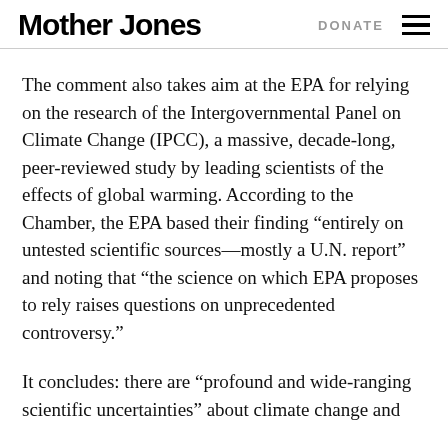Mother Jones | DONATE
The comment also takes aim at the EPA for relying on the research of the Intergovernmental Panel on Climate Change (IPCC), a massive, decade-long, peer-reviewed study by leading scientists of the effects of global warming. According to the Chamber, the EPA based their finding “entirely on untested scientific sources—mostly a U.N. report” and noting that “the science on which EPA proposes to rely raises questions on unprecedented controversy.”
It concludes: there are “profound and wide-ranging scientific uncertainties” about climate change and